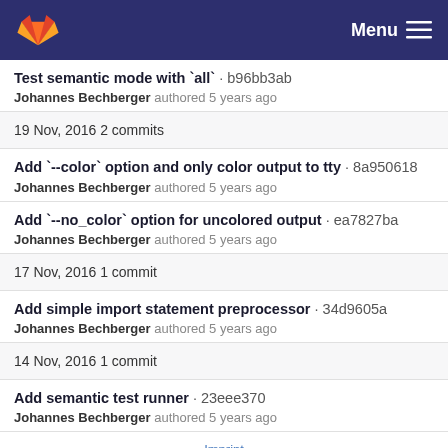Menu
Test semantic mode with `all` · b96bb3ab
Johannes Bechberger authored 5 years ago
19 Nov, 2016 2 commits
Add `--color` option and only color output to tty · 8a950618
Johannes Bechberger authored 5 years ago
Add `--no_color` option for uncolored output · ea7827ba
Johannes Bechberger authored 5 years ago
17 Nov, 2016 1 commit
Add simple import statement preprocessor · 34d9605a
Johannes Bechberger authored 5 years ago
14 Nov, 2016 1 commit
Add semantic test runner · 23eee370
Johannes Bechberger authored 5 years ago
Imprint